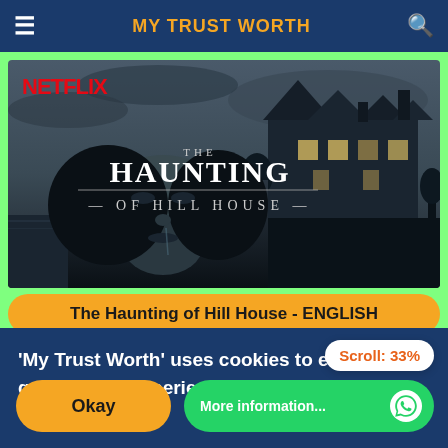MY TRUST WORTH
[Figure (screenshot): Screenshot of a website showing Netflix show 'The Haunting of Hill House' promotional banner with a dark moody image of a woman and a gothic mansion]
The Haunting of Hill House - ENGLISH
Scroll: 33%
'My Trust Worth' uses cookies to ensure you get the best experience on our website.
Okay
More information...